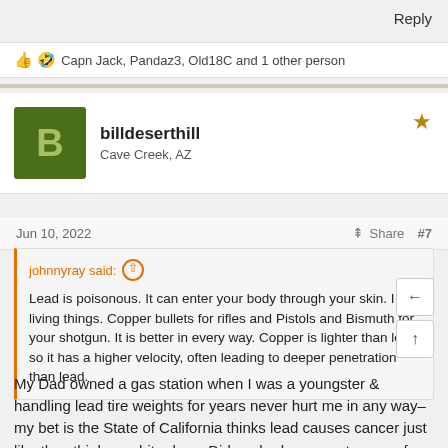Reply
👍 🤣 Capn Jack, Pandaz3, Old18C and 1 other person
billdeserthill
Cave Creek, AZ
Jun 10, 2022     Share   #7
johnnyray said: ↑

Lead is poisonous. It can enter your body through your skin. I kills living things. Copper bullets for rifles and Pistols and Bismuth for your shotgun. It is better in every way. Copper is lighter than lead, so it has a higher velocity, often leading to deeper penetration than lead.
My Dad owned a gas station when I was a youngster & handling lead tire weights for years never hurt me in any way–my bet is the State of California thinks lead causes cancer just like they think graphite does. Did anybody ever get cancer from using a pencil?